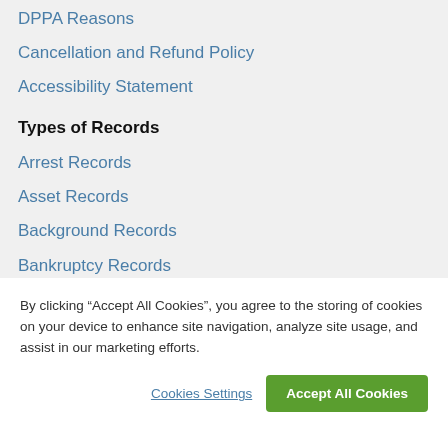DPPA Reasons
Cancellation and Refund Policy
Accessibility Statement
Types of Records
Arrest Records
Asset Records
Background Records
Bankruptcy Records
Birth Records
By clicking “Accept All Cookies”, you agree to the storing of cookies on your device to enhance site navigation, analyze site usage, and assist in our marketing efforts.
Cookies Settings
Accept All Cookies